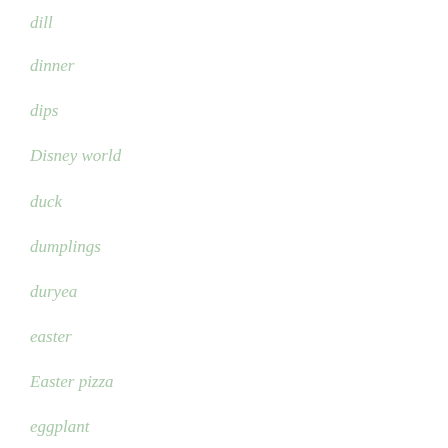dill
dinner
dips
Disney world
duck
dumplings
duryea
easter
Easter pizza
eggplant